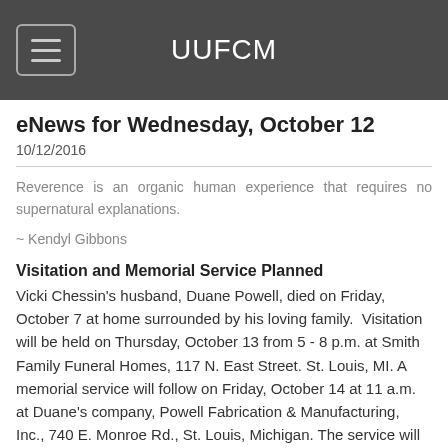UUFCM
eNews for Wednesday, October 12
10/12/2016
Reverence is an organic human experience that requires no supernatural explanations.
~ Kendyl Gibbons
Visitation and Memorial Service Planned
Vicki Chessin's husband, Duane Powell, died on Friday, October 7 at home surrounded by his loving family.  Visitation will be held on Thursday, October 13 from 5 - 8 p.m. at Smith Family Funeral Homes, 117 N. East Street. St. Louis, MI. A memorial service will follow on Friday, October 14 at 11 a.m. at Duane's company, Powell Fabrication & Manufacturing, Inc., 740 E. Monroe Rd., St. Louis, Michigan. The service will be officiated by UUFCM minister, Dawn Daniels. Please keep Vicki and her family in your thoughts and hearts as they journey through